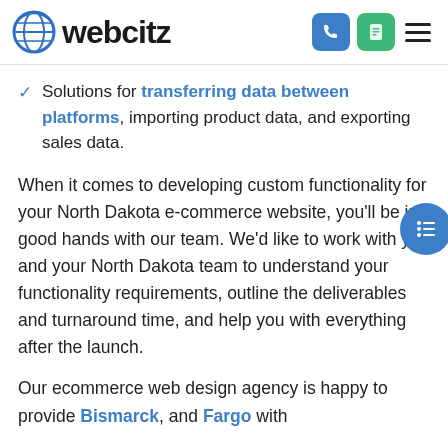webcitz
Solutions for transferring data between platforms, importing product data, and exporting sales data.
When it comes to developing custom functionality for your North Dakota e-commerce website, you'll be in good hands with our team. We'd like to work with you and your North Dakota team to understand your functionality requirements, outline the deliverables and turnaround time, and help you with everything after the launch.
Our ecommerce web design agency is happy to provide Bismarck, and Fargo with